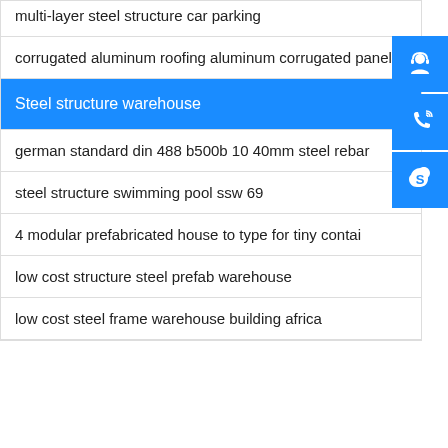multi-layer steel structure car parking
corrugated aluminum roofing aluminum corrugated panel
Steel structure warehouse
german standard din 488 b500b 10 40mm steel rebar
steel structure swimming pool ssw 69
4 modular prefabricated house to type for tiny contai
low cost structure steel prefab warehouse
low cost steel frame warehouse building africa